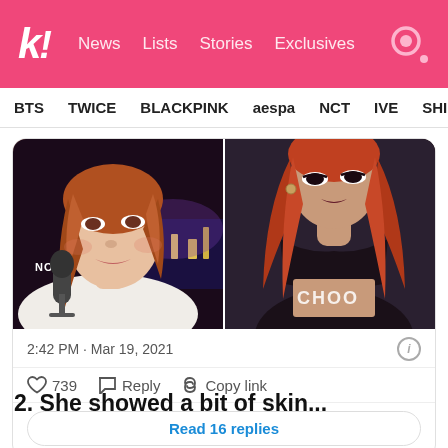k! News Lists Stories Exclusives
BTS TWICE BLACKPINK aespa NCT IVE SHINE
[Figure (screenshot): Two side-by-side photos: left shows a girl with reddish-brown hair near a microphone with 'NOW' label, right shows a person with long red hair in a black leather crop top with 'CHOOA' text on midriff]
2:42 PM · Mar 19, 2021
739  Reply  Copy link
Read 16 replies
2. She showed a bit of skin...